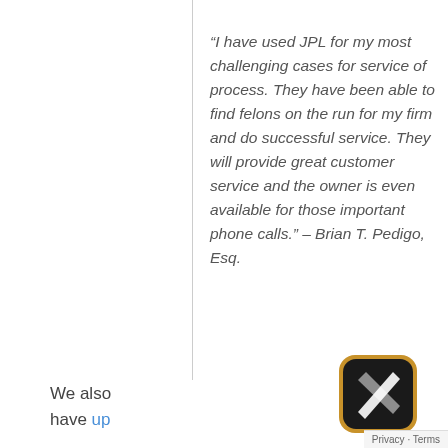“I have used JPL for my most challenging cases for service of process. They have been able to find felons on the run for my firm and do successful service. They will provide great customer service and the owner is even available for those important phone calls.” – Brian T. Pedigo, Esq.
We also have up
[Figure (logo): Mobile app icon with dark background and white stylized S/pencil shape, rounded square with orange/gold border]